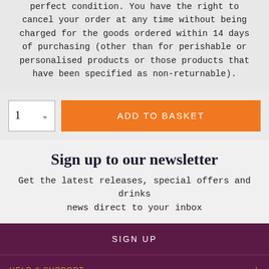perfect condition. You have the right to cancel your order at any time without being charged for the goods ordered within 14 days of purchasing (other than for perishable or personalised products or those products that have been specified as non-returnable).
1  ADD TO BASKET
Sign up to our newsletter
Get the latest releases, special offers and drinks news direct to your inbox
SIGN UP
HELP & SUPPORT
DELIVERY & RETURNS